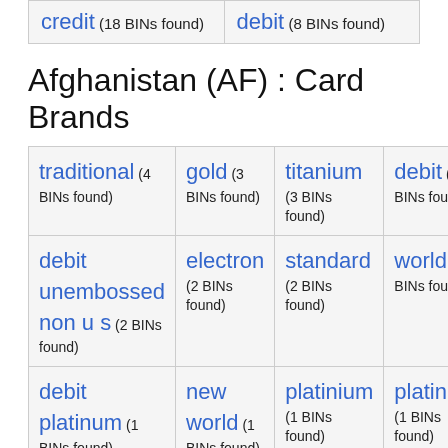credit (18 BINs found)   debit (8 BINs found)
Afghanistan (AF) : Card Brands
| traditional (4 BINs found) | gold (3 BINs found) | titanium (3 BINs found) | debit (2 BINs found) |
| debit unembossed non u s (2 BINs found) | electron (2 BINs found) | standard (2 BINs found) | world (2 BINs found) |
| debit platinum (1 BINs found) | new world (1 BINs found) | platinium (1 BINs found) | platinum (1 BINs found) |